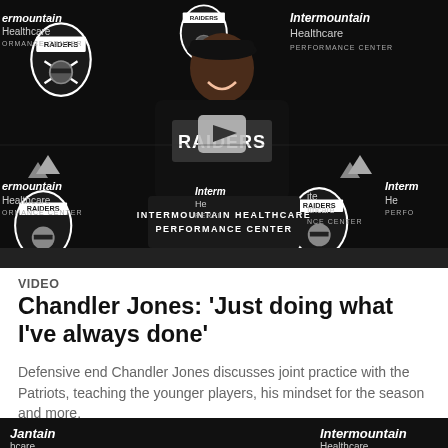[Figure (screenshot): Video thumbnail showing Chandler Jones at a press conference podium at the Intermountain Healthcare Performance Center, Raiders branding backdrop, with a play button overlay.]
VIDEO
Chandler Jones: 'Just doing what I've always done'
Defensive end Chandler Jones discusses joint practice with the Patriots, teaching the younger players, his mindset for the season and more.
[Figure (screenshot): Partial bottom strip showing next video thumbnail with Raiders branding.]